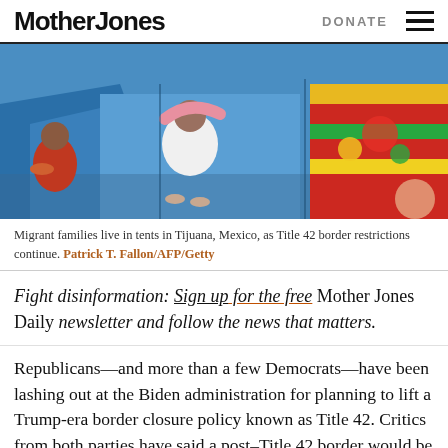Mother Jones   DONATE
[Figure (photo): Migrant families inside blue tents in Tijuana, Mexico. A child in red is visible on the left, a person in a white shirt is crouching in the middle tent, and colorful fabrics are seen on the right.]
Migrant families live in tents in Tijuana, Mexico, as Title 42 border restrictions continue. Patrick T. Fallon/AFP/Getty
Fight disinformation: Sign up for the free Mother Jones Daily newsletter and follow the news that matters.
Republicans—and more than a few Democrats—have been lashing out at the Biden administration for planning to lift a Trump-era border closure policy known as Title 42. Critics from both parties have said a post–Title 42 border would be a